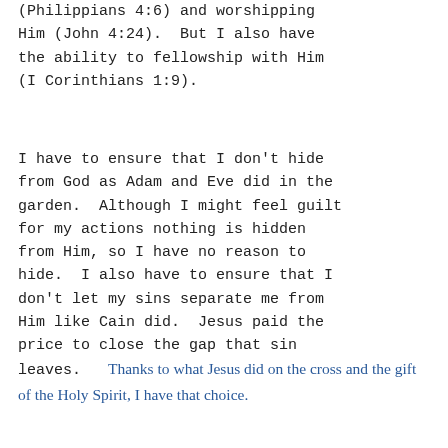(Philippians 4:6) and worshipping Him (John 4:24).  But I also have the ability to fellowship with Him (I Corinthians 1:9).
I have to ensure that I don't hide from God as Adam and Eve did in the garden.  Although I might feel guilt for my actions nothing is hidden from Him, so I have no reason to hide.  I also have to ensure that I don't let my sins separate me from Him like Cain did.  Jesus paid the price to close the gap that sin leaves.   Thanks to what Jesus did on the cross and the gift of the Holy Spirit, I have that choice.